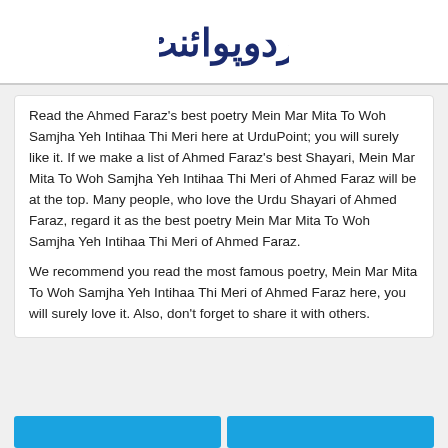[Figure (logo): UrduPoint logo in Urdu script with decorative styling in dark blue/navy color]
Read the Ahmed Faraz's best poetry Mein Mar Mita To Woh Samjha Yeh Intihaa Thi Meri here at UrduPoint; you will surely like it. If we make a list of Ahmed Faraz's best Shayari, Mein Mar Mita To Woh Samjha Yeh Intihaa Thi Meri of Ahmed Faraz will be at the top. Many people, who love the Urdu Shayari of Ahmed Faraz, regard it as the best poetry Mein Mar Mita To Woh Samjha Yeh Intihaa Thi Meri of Ahmed Faraz.
We recommend you read the most famous poetry, Mein Mar Mita To Woh Samjha Yeh Intihaa Thi Meri of Ahmed Faraz here, you will surely love it. Also, don't forget to share it with others.